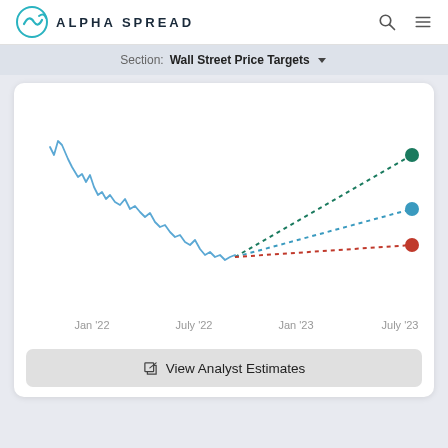ALPHA SPREAD
Section: Wall Street Price Targets
[Figure (line-chart): Line chart showing stock price history from early 2022 to mid-2023 with three dotted forecast lines (high target in green, median in blue, low target in red) extending to July 2023]
View Analyst Estimates